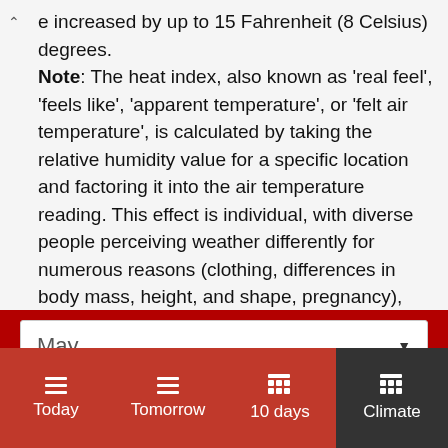e increased by up to 15 Fahrenheit (8 Celsius) degrees. Note: The heat index, also known as 'real feel', 'feels like', 'apparent temperature', or 'felt air temperature', is calculated by taking the relative humidity value for a specific location and factoring it into the air temperature reading. This effect is individual, with diverse people perceiving weather differently for numerous reasons (clothing, differences in body mass, height, and shape, pregnancy), and activity.
May
Today | Tomorrow | 10 days | Climate